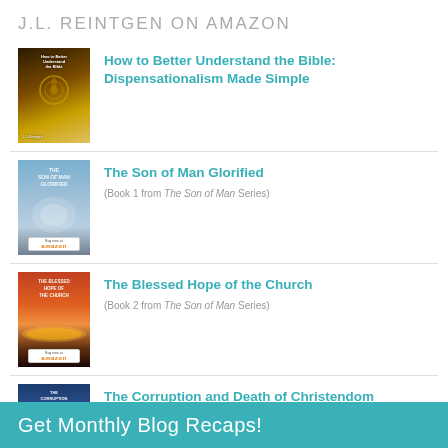J.L. REINTGEN ON AMAZON
How to Better Understand the Bible: Dispensationalism Made Simple
The Son of Man Glorified
(Book 1 from The Son of Man Series)
The Blessed Hope of the Church
(Book 2 from The Son of Man Series)
The Corruption and Death of Christendom
(Book 3 from The Son of Man Series)
Get Monthly Blog Recaps!